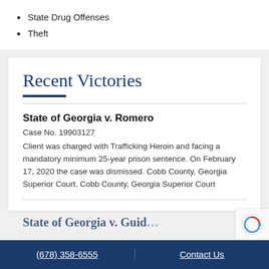State Drug Offenses
Theft
Recent Victories
State of Georgia v. Romero
Case No. 19903127
Client was charged with Trafficking Heroin and facing a mandatory minimum 25-year prison sentence. On February 17, 2020 the case was dismissed. Cobb County, Georgia Superior Court. Cobb County, Georgia Superior Court
(678) 358-6555   Contact Us